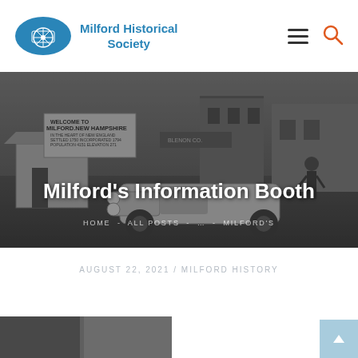Milford Historical Society
[Figure (photo): Black and white historical photograph of Milford, New Hampshire information booth with a vintage car and a person, Welcome to Milford New Hampshire sign visible in background with town buildings.]
Milford's Information Booth
HOME - ALL POSTS - … - MILFORD'S
AUGUST 22, 2021 / MILFORD HISTORY
[Figure (photo): Partial view of a historical photograph at the bottom of the page.]